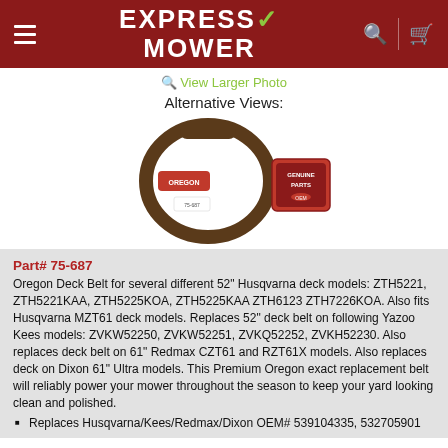EXPRESS MOWER
View Larger Photo
Alternative Views:
[Figure (photo): Oregon deck belt (brown V-belt) with red Oregon label, and a Genuine Parts badge]
Part# 75-687
Oregon Deck Belt for several different 52" Husqvarna deck models: ZTH5221, ZTH5221KAA, ZTH5225KOA, ZTH5225KAA ZTH6123 ZTH7226KOA. Also fits Husqvarna MZT61 deck models. Replaces 52" deck belt on following Yazoo Kees models: ZVKW52250, ZVKW52251, ZVKQ52252, ZVKH52230. Also replaces deck belt on 61" Redmax CZT61 and RZT61X models. Also replaces deck on Dixon 61" Ultra models. This Premium Oregon exact replacement belt will reliably power your mower throughout the season to keep your yard looking clean and polished.
Replaces Husqvarna/Kees/Redmax/Dixon OEM# 539104335, 532705901